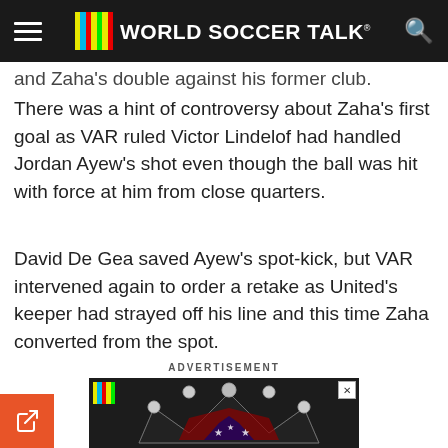World Soccer Talk
and Zaha's double against his former club.
There was a hint of controversy about Zaha's first goal as VAR ruled Victor Lindelof had handled Jordan Ayew's shot even though the ball was hit with force at him from close quarters.
David De Gea saved Ayew's spot-kick, but VAR intervened again to order a retake as United's keeper had strayed off his line and this time Zaha converted from the spot.
ADVERTISEMENT
[Figure (photo): Advertisement image showing a decorative crown with stars and stripes motif, with World Soccer Talk color bars logo in the top left corner and an X close button in the top right.]